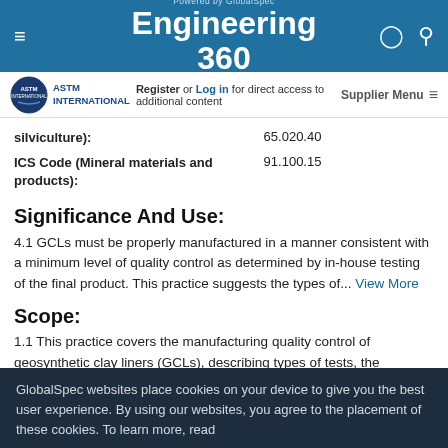Powered by GlobalSpec Engineering 360
Register or Log in for direct access to additional content   Supplier Menu
| Label | Value |
| --- | --- |
| ICS Code (Mineral materials and products): | 91.100.15 |
Significance And Use:
4.1 GCLs must be properly manufactured in a manner consistent with a minimum level of quality control as determined by in-house testing of the final product. This practice suggests the types of... View More
Scope:
1.1 This practice covers the manufacturing quality control of geosynthetic clay liners (GCLs), describing types of tests, the
GlobalSpec websites place cookies on your device to give you the best user experience. By using our websites, you agree to the placement of these cookies. To learn more, read